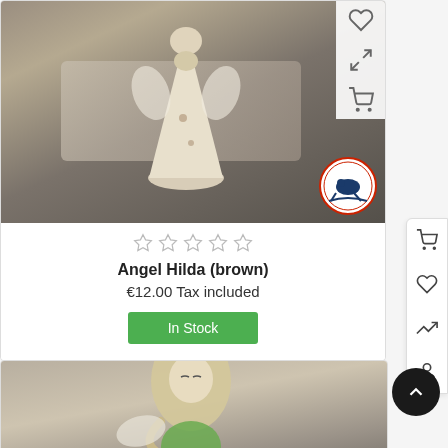[Figure (photo): Ceramic angel figurine (brown/white) on stone surface with shop watermark logo in bottom right corner]
☆ ☆ ☆ ☆ ☆
Angel Hilda (brown)
€12.00 Tax included
In Stock
[Figure (photo): Ceramic angel figurine with long hair and green accents, partial view from below]